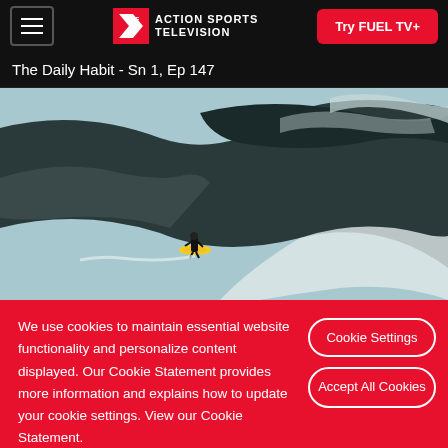FUEL TV - ACTION SPORTS TELEVISION | Try FUEL TV+
The Daily Habit - Sn 1, Ep 147
[Figure (photo): A surfer riding a massive wave, shot from behind/below showing the towering dark wave curling overhead]
We use cookies to maintain essential website functionality and personalize content displayed. Our Cookie Statement provides more information and explains how to update your cookie settings. View our Cookie Statement.
Cookie Settings
Accept All Cookies